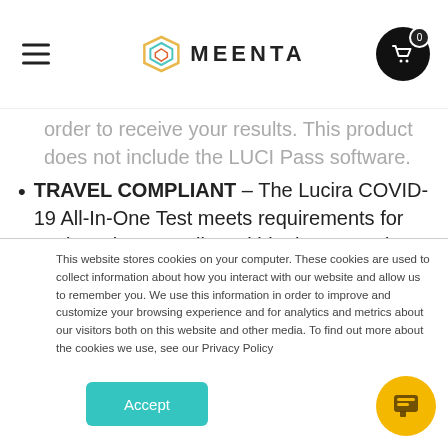MEENTA
order to receive your results. This product does not include the LUCI Pass software.
TRAVEL COMPLIANT – The Lucira COVID-19 All-In-One Test meets requirements for testing when traveling within the US and to Canada, as well as many other international locations. Includes access to results documentation for verification.
This website stores cookies on your computer. These cookies are used to collect information about how you interact with our website and allow us to remember you. We use this information in order to improve and customize your browsing experience and for analytics and metrics about our visitors both on this website and other media. To find out more about the cookies we use, see our Privacy Policy